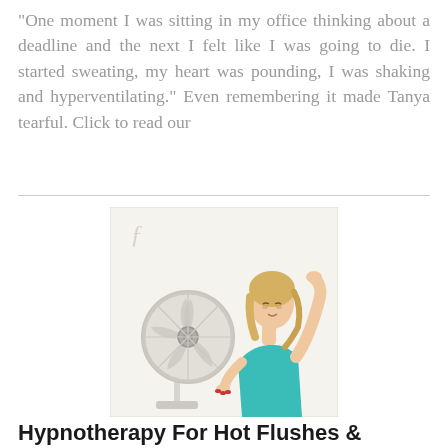“One moment I was sitting in my office thinking about a deadline and the next I felt like I was going to die. I started sweating, my heart was pounding, I was shaking and hyperventilating.” Even remembering it made Tanya tearful. Click to read our
[Figure (photo): A blonde woman in a teal sleeveless top leaning toward a white electric fan with her hand raised to her forehead, appearing to be experiencing a hot flush or overheating.]
Hypnotherapy For Hot Flushes &